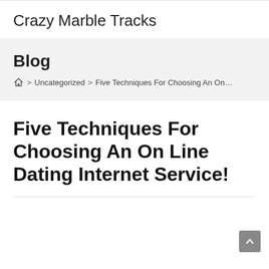Crazy Marble Tracks
Blog
Home > Uncategorized > Five Techniques For Choosing An On Line Dat
Five Techniques For Choosing An On Line Dating Internet Service!